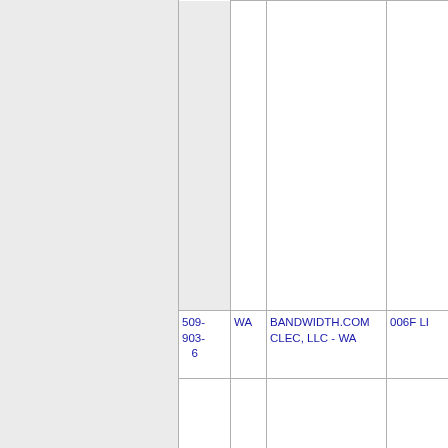| NPA-NXX-XXXX | ST | CARRIER NAME | OCN |
| --- | --- | --- | --- |
| 509-903-6 | WA | BANDWIDTH.COM CLEC, LLC - WA | 006F |